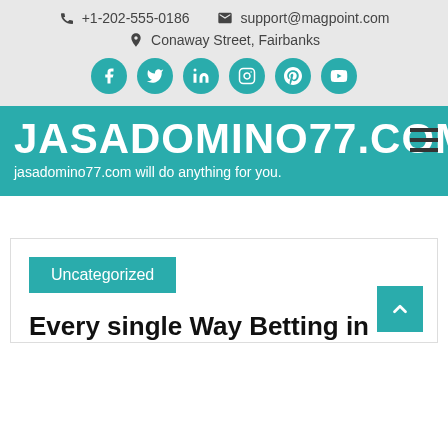+1-202-555-0186  support@magpoint.com  Conaway Street, Fairbanks
JASADOMINO77.COM
jasadomino77.com will do anything for you.
Uncategorized
Every single Way Betting in